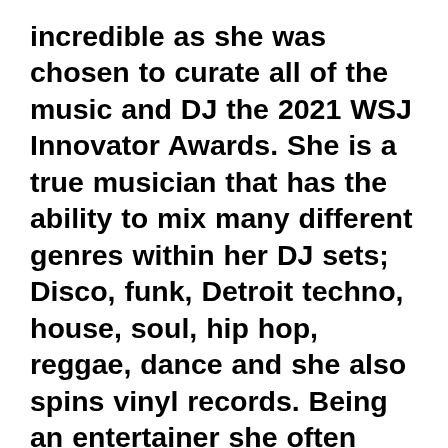incredible as she was chosen to curate all of the music and DJ the 2021 WSJ Innovator Awards. She is a true musician that has the ability to mix many different genres within her DJ sets; Disco, funk, Detroit techno, house, soul, hip hop, reggae, dance and she also spins vinyl records. Being an entertainer she often finds herself playing a long track and stepping from behind the DJ booth to dance with the